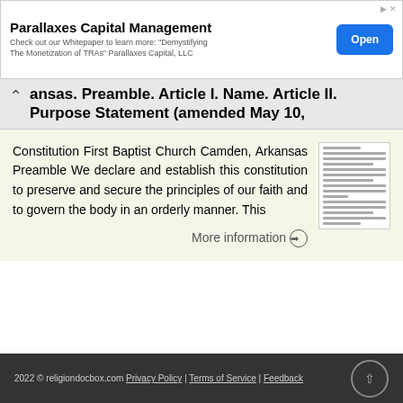[Figure (screenshot): Advertisement banner for Parallaxes Capital Management with Open button]
ansas. Preamble. Article I. Name. Article II. Purpose Statement (amended May 10,
Constitution First Baptist Church Camden, Arkansas Preamble We declare and establish this constitution to preserve and secure the principles of our faith and to govern the body in an orderly manner. This
More information →
2022 © religiondocbox.com Privacy Policy | Terms of Service | Feedback